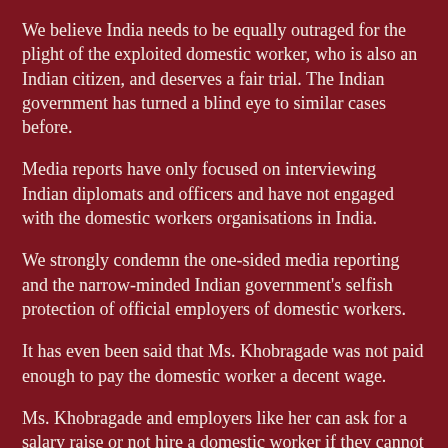We believe India needs to be equally outraged for the plight of the exploited domestic worker, who is also an Indian citizen, and deserves a fair trial. The Indian government has turned a blind eye to similar cases before.
Media reports have only focused on interviewing Indian diplomats and officers and have not engaged with the domestic workers organisations in India.
We strongly condemn the one-sided media reporting and the narrow-minded Indian government's selfish protection of official employers of domestic workers.
It has even been said that Ms. Khobragade was not paid enough to pay the domestic worker a decent wage.
Ms. Khobragade and employers like her can ask for a salary raise or not hire a domestic worker if they cannot afford to pay for one.